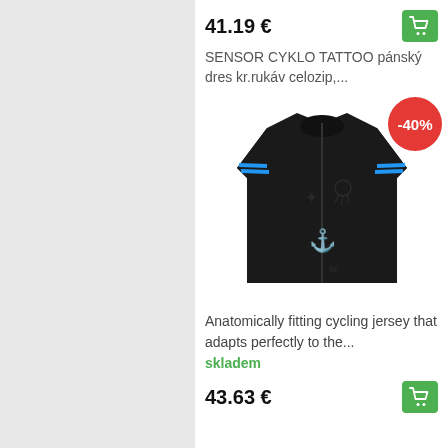41.19 €
[Figure (photo): Black cycling jersey (Sensor Cyklo Tattoo) with tattoo-style graphic print and blue stripe accents on sleeves, displayed on a white background with a -40% red discount badge.]
SENSOR CYKLO TATTOO pánský dres kr.rukáv celozip,...
Anatomically fitting cycling jersey that adapts perfectly to the...
skladem
43.63 €